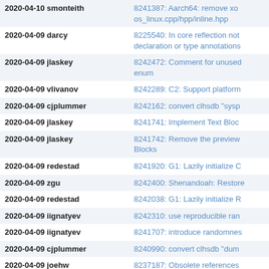| Date Author | Commit |
| --- | --- |
| 2020-04-10 smonteith | 8241387: Aarch64: remove xo os_linux.cpp/hpp/inline.hpp |
| 2020-04-09 darcy | 8225540: In core reflection not declaration or type annotations |
| 2020-04-09 jlaskey | 8242472: Comment for unused enum |
| 2020-04-09 vlivanov | 8242289: C2: Support platform |
| 2020-04-09 cjplummer | 8242162: convert clhsdb "sysp |
| 2020-04-09 jlaskey | 8241741: Implement Text Bloc |
| 2020-04-09 jlaskey | 8241742: Remove the preview Blocks |
| 2020-04-09 redestad | 8241920: G1: Lazily initialize C |
| 2020-04-09 zgu | 8242400: Shenandoah: Restore |
| 2020-04-09 redestad | 8242038: G1: Lazily initialize R |
| 2020-04-09 iignatyev | 8242310: use reproducible ran |
| 2020-04-09 iignatyev | 8241707: introduce randomnes |
| 2020-04-09 cjplummer | 8240990: convert clhsdb "dum |
| 2020-04-09 joehw | 8237187: Obsolete references |
| 2020-04-09 jwilhelm | Added tag jdk-15+18 for chang |
| 2020-04-09 jiefu | 8242379: [TESTBUG] compiler/loopopts/TestLoopUns with release VMs |
| 2020-04-08 cjplummer | 8242384: sa/TestSysProps.java not find property in jinfo outpu with UseCompressedOops"  jdk-1 |
| 2020-04-08 lmesnik | 8242295: Change ThreadMBea ThreadMXBean |
| 2020-04-08 hannesw | 8240169: javadoc fails to link |